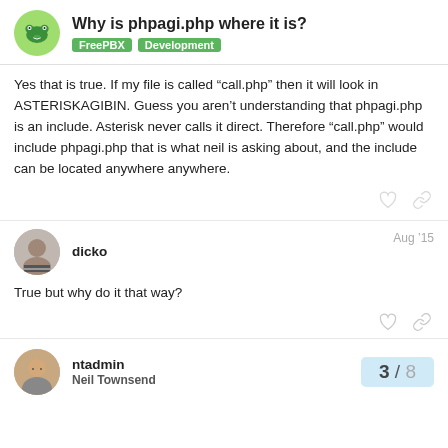Why is phpagi.php where it is? | FreePBX | Development
Yes that is true. If my file is called “call.php” then it will look in ASTERISKAGIBIN. Guess you aren’t understanding that phpagi.php is an include. Asterisk never calls it direct. Therefore “call.php” would include phpagi.php that is what neil is asking about, and the include can be located anywhere anywhere.
dicko  Aug ’15
True but why do it that way?
ntadmin
Neil Townsend
3 / 8